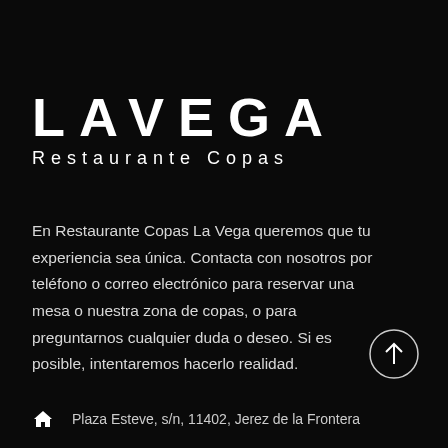LAVEGA
Restaurante Copas
En Restaurante Copas La Vega queremos que tu experiencia sea única. Contacta con nosotros por teléfono o correo electrónico para reservar una mesa o nuestra zona de copas, o para preguntarnos cualquier duda o deseo. Si es posible, intentaremos hacerlo realidad.
[Figure (illustration): Circle with upward arrow icon (scroll-to-top button)]
Plaza Esteve, s/n, 11402, Jerez de la Frontera